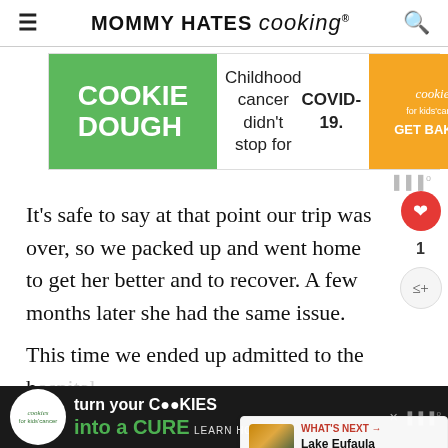MOMMY HATES cooking®
[Figure (infographic): Cookie Dough advertisement: green left panel with text COOKIE DOUGH, white center panel with text Childhood cancer didn't stop for COVID-19., orange right panel with cookies for kids' cancer logo and GET BAKING text]
[Figure (logo): Moat analytics logo (three vertical bars with degree symbol)]
It's safe to say at that point our trip was over, so we packed up and went home to get her better and to recover. A few months later she had the same issue.
This time we ended up admitted to the [hospital] where it was discovered that she actually had urinary reflux and her kidneys were not fu[nctioning properly]
[Figure (infographic): What's Next panel showing Lake Eufaula State Park with scenic lake/sunset image]
[Figure (infographic): Bottom advertisement: dark background with cookies for kids cancer logo and text turn your COOKIES into a CURE LEARN HOW]